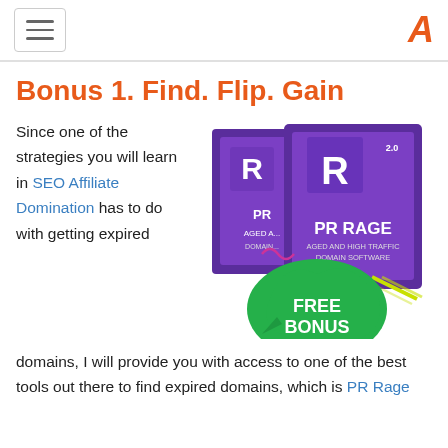[hamburger menu icon] [A logo]
Bonus 1. Find. Flip. Gain
Since one of the strategies you will learn in SEO Affiliate Domination has to do with getting expired
[Figure (photo): PR Rage 2.0 Aged and High Traffic Domain Software product box with FREE BONUS badge in green]
domains, I will provide you with access to one of the best tools out there to find expired domains, which is PR Rage